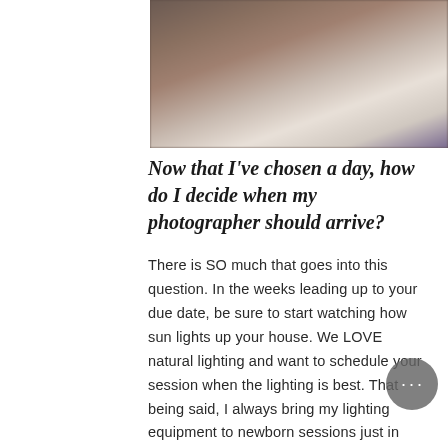[Figure (photo): Blurred photograph of a newborn session, showing dark brown furniture against lighter background]
Now that I've chosen a day, how do I decide when my photographer should arrive?
There is SO much that goes into this question. In the weeks leading up to your due date, be sure to start watching how sun lights up your house. We LOVE natural lighting and want to schedule your session when the lighting is best. That being said, I always bring my lighting equipment to newborn sessions just in case, but  opening your windows usually does the trick! If you decide to have an at home session and mainly want to take photos in your nursery and living room, be sure to specifically watch the lighting in those two rooms. If you do decide on a different direction...